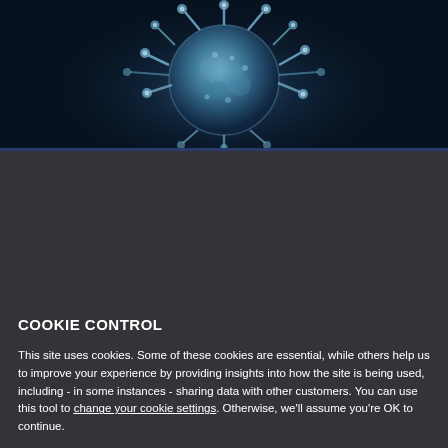[Figure (photo): Close-up 3D illustration of a coronavirus particle on dark blue background, showing spike proteins radiating outward]
More posts by Elizabeth Forster
COOKIE CONTROL
This site uses cookies. Some of these cookies are essential, while others help us to improve your experience by providing insights into how the site is being used, including - in some instances - sharing data with other customers. You can use this tool to change your cookie settings. Otherwise, we'll assume you're OK to continue.
I'm fine with this
Public Procurement Reform 3 key take-aways from the Government...
More details